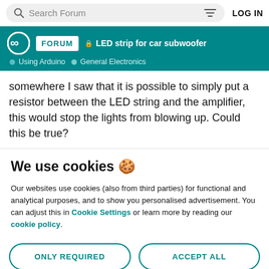Search Forum | LOG IN
LED strip for car subwoofer | Using Arduino > General Electronics
somewhere I saw that it is possible to simply put a resistor between the LED string and the amplifier, this would stop the lights from blowing up. Could this be true?
We use cookies 🍪
Our websites use cookies (also from third parties) for functional and analytical purposes, and to show you personalised advertisement. You can adjust this in Cookie Settings or learn more by reading our cookie policy.
ONLY REQUIRED
ACCEPT ALL